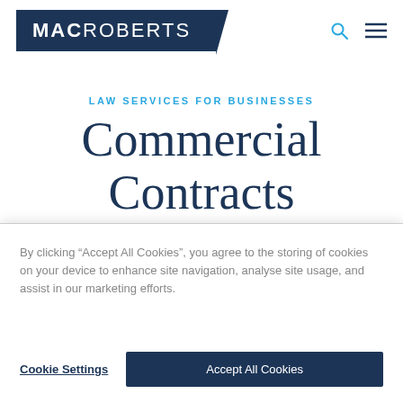[Figure (logo): MacRoberts law firm logo — white text on dark navy background with search and hamburger menu icons]
LAW SERVICES FOR BUSINESSES
Commercial Contracts
By clicking “Accept All Cookies”, you agree to the storing of cookies on your device to enhance site navigation, analyse site usage, and assist in our marketing efforts.
Cookie Settings
Accept All Cookies